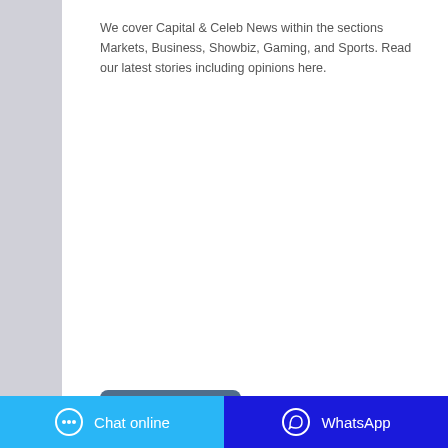We cover Capital & Celeb News within the sections Markets, Business, Showbiz, Gaming, and Sports. Read our latest stories including opinions here.
[Figure (other): Two call-to-action buttons: 'Obter preço' (blue-grey) and 'WhatsApp' (green)]
[Figure (photo): A blurred close-up photo of food products including yellow packaging and white powder or flour, with green and yellow colors dominant.]
Chat online | WhatsApp